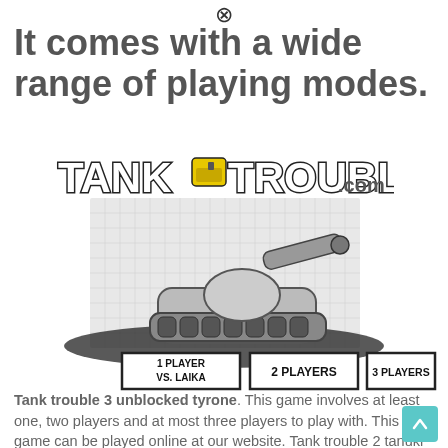[Figure (other): Close/dismiss button (circled X) at top center]
It comes with a wide range of playing modes.
[Figure (logo): Tank Trouble .com logo in bold stylized text with a small tank icon in the middle]
[Figure (illustration): A cartoon gray tank on a dark shadow/ground with a maze background, showing three game mode buttons: 1 PLAYER VS. LAIKA, 2 PLAYERS, 3 PLAYERS]
Tank trouble 3 unblocked tyrone. This game involves at least one, two players and at most three players to play with. This game can be played online at our website. Tank trouble 2 tanuki sunset tetris tic t[X] toe tm driver.